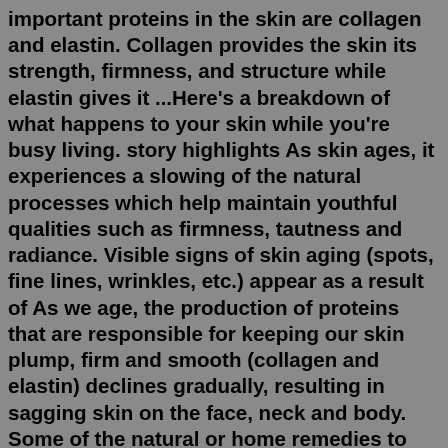important proteins in the skin are collagen and elastin. Collagen provides the skin its strength, firmness, and structure while elastin gives it ...Here's a breakdown of what happens to your skin while you're busy living. story highlights As skin ages, it experiences a slowing of the natural processes which help maintain youthful qualities such as firmness, tautness and radiance. Visible signs of skin aging (spots, fine lines, wrinkles, etc.) appear as a result of As we age, the production of proteins that are responsible for keeping our skin plump, firm and smooth (collagen and elastin) declines gradually, resulting in sagging skin on the face, neck and body. Some of the natural or home remedies to firm the skin include facial exercise, application of topical products and doctor prescribed interventions.STEP 2: Use a thick exfoliator like the Sol de Janeiro Bum Bum Body Scrub to remove dead skin cells on the arms, legs and other places on the body. STEP 3: Apply a lightweight moisturizer after exfoliation like the L...from Hydro Zen Glow Liquid Moisturizer. STEP